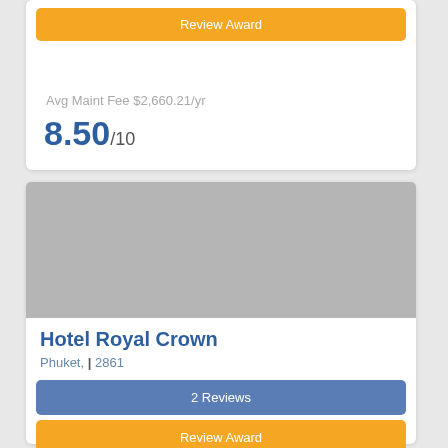Review Award
Avg Maint Fee $2,660.21/yr
8.50/10
[Figure (photo): Gray placeholder image for hotel]
Hotel Royal Crown
Phuket, | 2861
2 Reviews
Review Award